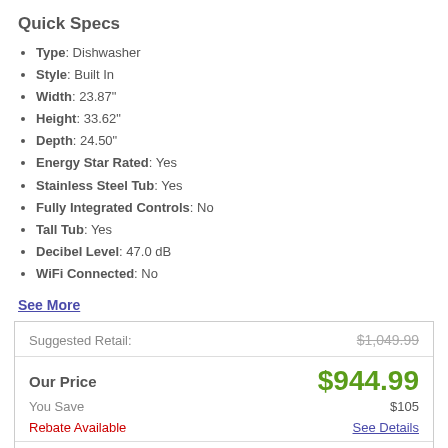Quick Specs
Type: Dishwasher
Style: Built In
Width: 23.87"
Height: 33.62"
Depth: 24.50"
Energy Star Rated: Yes
Stainless Steel Tub: Yes
Fully Integrated Controls: No
Tall Tub: Yes
Decibel Level: 47.0 dB
WiFi Connected: No
See More
| Label | Value |
| --- | --- |
| Suggested Retail: | $1,049.99 |
| Our Price | $944.99 |
| You Save | $105 |
| Rebate Available | See Details |
| *6% Tax Will Be Applied For In Store Pickup |  |